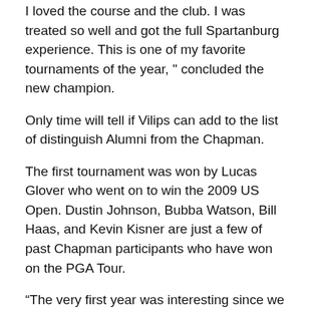I loved the course and the club. I was treated so well and got the full Spartanburg experience. This is one of my favorite tournaments of the year, " concluded the new champion.
Only time will tell if Vilips can add to the list of distinguish Alumni from the Chapman.
The first tournament was won by Lucas Glover who went on to win the 2009 US Open. Dustin Johnson, Bubba Watson, Bill Haas, and Kevin Kisner are just a few of past Chapman participants who have won on the PGA Tour.
“The very first year was interesting since we were a new event, but it could not have worked out better than to have a future US Open champion (Glover) win our first tournament,” noted Smith.